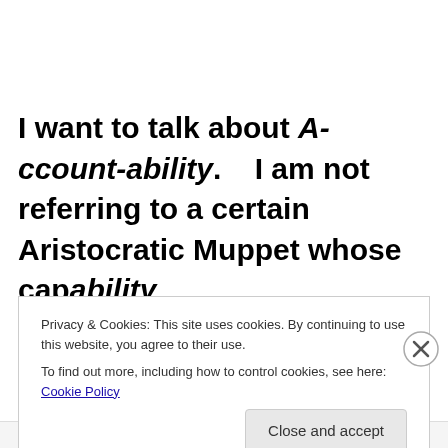I want to talk about A-ccount-ability.    I am not referring to a certain Aristocratic Muppet whose capability
Privacy & Cookies: This site uses cookies. By continuing to use this website, you agree to their use.
To find out more, including how to control cookies, see here: Cookie Policy